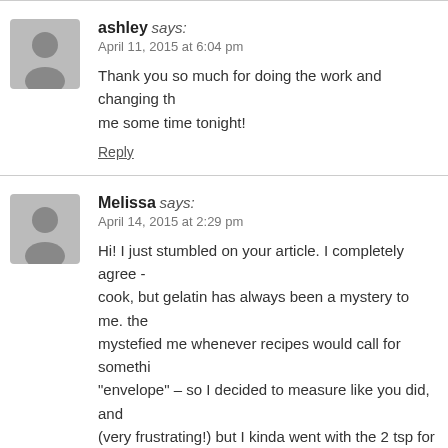ashley says: April 11, 2015 at 6:04 pm
Thank you so much for doing the work and changing th[e recipe, it saved] me some time tonight!
Reply
Melissa says: April 14, 2015 at 2:29 pm
Hi! I just stumbled on your article. I completely agree - [I love to] cook, but gelatin has always been a mystery to me. the [word] mystefied me whenever recipes would call for somethi[ng in an] "envelope" – so I decided to measure like you did, and [(very frustrating!)] but I kinda went with the 2 tsp for si[mplicity. I'm going] deeper now upon learning of the health benefits…after [that]